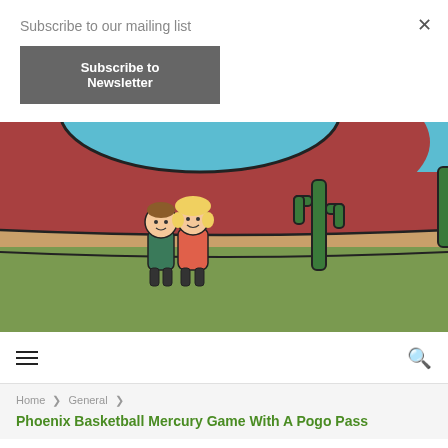Subscribe to our mailing list
Subscribe to Newsletter
[Figure (illustration): Cartoon illustration of two children (a boy in green and a girl in pink/orange) standing in front of a stylized desert landscape with a red curved hill, a road, green grass, and a tall green cactus. Sky is teal/blue at the top.]
Home > General >
Phoenix Basketball Mercury Game With A Pogo Pass